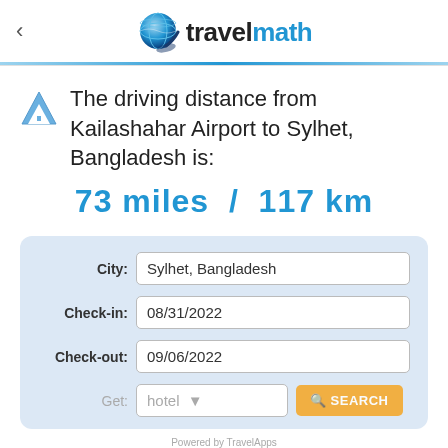travelmath
The driving distance from Kailashahar Airport to Sylhet, Bangladesh is:
73 miles  /  117 km
| Label | Value |
| --- | --- |
| City: | Sylhet, Bangladesh |
| Check-in: | 08/31/2022 |
| Check-out: | 09/06/2022 |
| Get: | hotel |
Powered by TravelApps